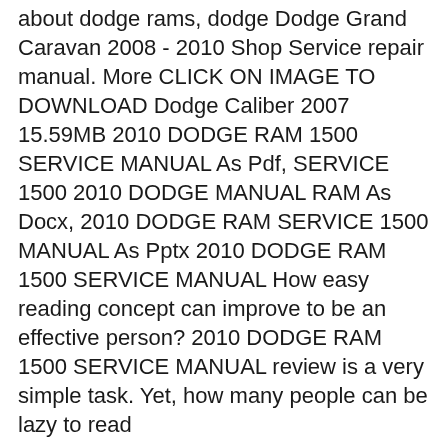about dodge rams, dodge Dodge Grand Caravan 2008 - 2010 Shop Service repair manual. More CLICK ON IMAGE TO DOWNLOAD Dodge Caliber 2007 15.59MB 2010 DODGE RAM 1500 SERVICE MANUAL As Pdf, SERVICE 1500 2010 DODGE MANUAL RAM As Docx, 2010 DODGE RAM SERVICE 1500 MANUAL As Pptx 2010 DODGE RAM 1500 SERVICE MANUAL How easy reading concept can improve to be an effective person? 2010 DODGE RAM 1500 SERVICE MANUAL review is a very simple task. Yet, how many people can be lazy to read
OEM SERVICE AND REPAIR MANUAL SOFTWARE FOR THE 2010 DODGE RAM